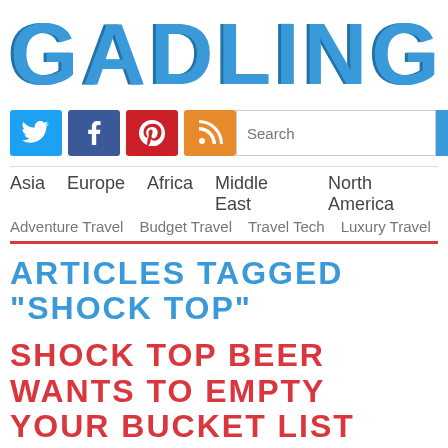GADLING
[Figure (logo): Gadling website logo in large blue bold uppercase letters]
Social icons: Twitter, Facebook, Pinterest, RSS | Search bar | SEARCH button
Asia   Europe   Africa   Middle East   North America
Adventure Travel   Budget Travel   Travel Tech   Luxury Travel
ARTICLES TAGGED "SHOCK TOP"
SHOCK TOP BEER WANTS TO EMPTY YOUR BUCKET LIST BEFORE THE WORLD